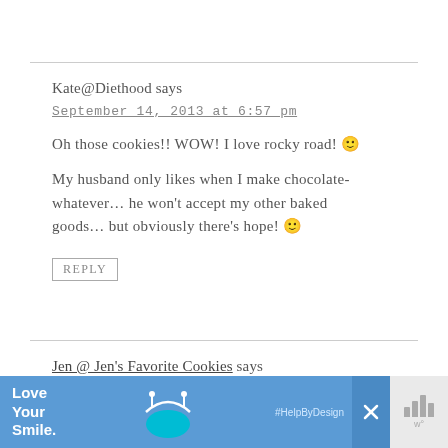Kate@Diethood says
September 14, 2013 at 6:57 pm
Oh those cookies!! WOW! I love rocky road! 🙂
My husband only likes when I make chocolate-whatever… he won't accept my other baked goods… but obviously there's hope! 🙂
REPLY
Jen @ Jen's Favorite Cookies says
[Figure (screenshot): Blue advertisement banner for 'Love Your Smile' with a dental-related graphic and #HelpByDesign hashtag, with close (X) button and weather widget area.]